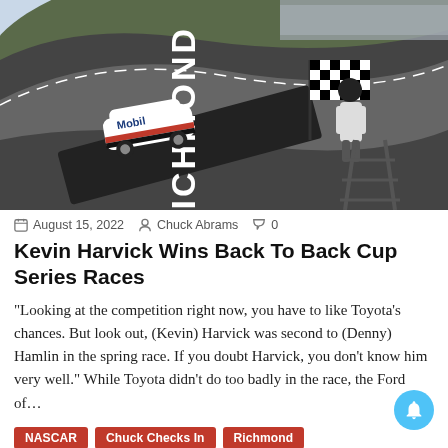[Figure (photo): Aerial/angled view of a NASCAR race at Richmond Raceway, showing a white stock car with Mobil branding crossing the finish line as a checkered flag is waved by a flag person on a stand. The RICHMOND logo is visible on the wall.]
August 15, 2022  Chuck Abrams  0
Kevin Harvick Wins Back To Back Cup Series Races
“Looking at the competition right now, you have to like Toyota’s chances. But look out, (Kevin) Harvick was second to (Denny) Hamlin in the spring race. If you doubt Harvick, you don’t know him very well.” While Toyota didn’t do too badly in the race, the Ford of…
NASCAR
Chuck Checks In
Richmond